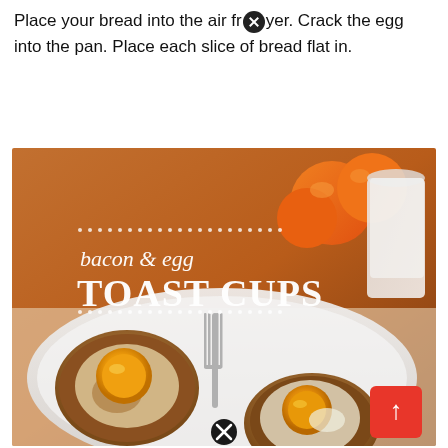Place your bread into the air fryer. Crack the egg into the pan. Place each slice of bread flat in.
[Figure (photo): Food photo showing bacon and egg toast cups on a white plate with a fork, oranges and a glass of milk in the background. Text overlay reads 'bacon & egg TOAST CUPS' in white serif font with decorative dotted lines. A red scroll-to-top button and two close (X) overlay icons are visible.]